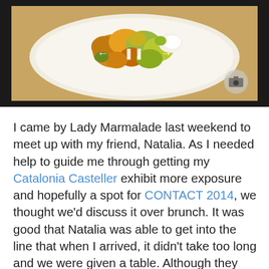[Figure (photo): A tablet or phone screen showing a food photo of roasted potatoes and vegetables on a white plate, with navigation arrows and pause button overlaid, and a camera icon in the bottom right corner. The device has a dark bezel.]
I came by Lady Marmalade last weekend to meet up with my friend, Natalia. As I needed help to guide me through getting my Catalonia Casteller exhibit more exposure and hopefully a spot for CONTACT 2014, we thought we'd discuss it over brunch. It was good that Natalia was able to get into the line that when I arrived, it didn't take too long and we were given a table. Although they were more popular for their Bennies, I opted for their cheddar and spinach waffles served with tomato-orange cream, bacon,